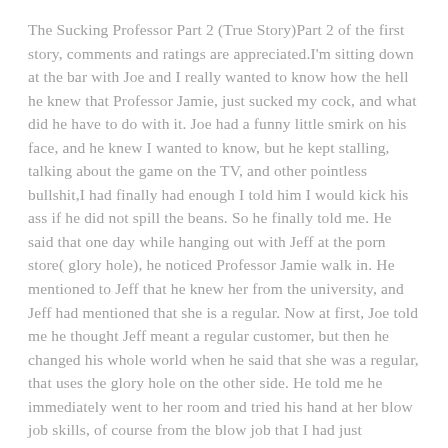The Sucking Professor Part 2 (True Story)Part 2 of the first story, comments and ratings are appreciated.I'm sitting down at the bar with Joe and I really wanted to know how the hell he knew that Professor Jamie, just sucked my cock, and what did he have to do with it. Joe had a funny little smirk on his face, and he knew I wanted to know, but he kept stalling, talking about the game on the TV, and other pointless bullshit,I had finally had enough I told him I would kick his ass if he did not spill the beans. So he finally told me. He said that one day while hanging out with Jeff at the porn store( glory hole), he noticed Professor Jamie walk in. He mentioned to Jeff that he knew her from the university, and Jeff had mentioned that she is a regular. Now at first, Joe told me he thought Jeff meant a regular customer, but then he changed his whole world when he said that she was a regular, that uses the glory hole on the other side. He told me he immediately went to her room and tried his hand at her blow job skills, of course from the blow job that I had just